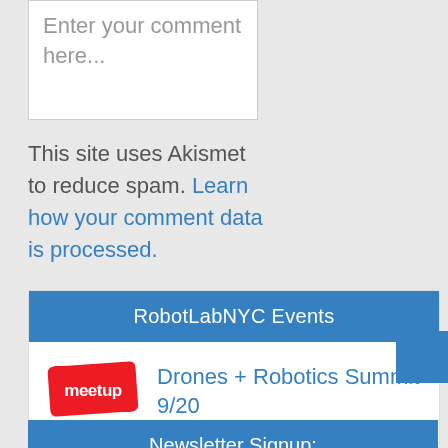Enter your comment here...
This site uses Akismet to reduce spam. Learn how your comment data is processed.
RobotLabNYC Events
Drones + Robotics Summit 9/20
Newsletter Signup: